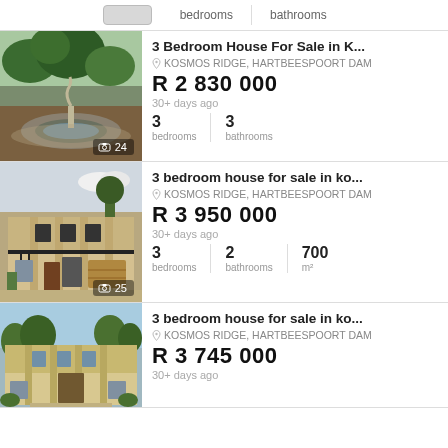bedrooms | bathrooms
[Figure (photo): Garden with stone fountain and snake sculpture, lush greenery, 24 photos]
3 Bedroom House For Sale in K...
KOSMOS RIDGE, HARTBEESPOORT DAM
R 2 830 000
30+ days ago
3 bedrooms | 3 bathrooms
[Figure (photo): Two-storey sandstone house with black railings and garage, 25 photos]
3 bedroom house for sale in ko...
KOSMOS RIDGE, HARTBEESPOORT DAM
R 3 950 000
30+ days ago
3 bedrooms | 2 bathrooms | 700 m²
[Figure (photo): Large multi-storey sandstone house with columns and driveway]
3 bedroom house for sale in ko...
KOSMOS RIDGE, HARTBEESPOORT DAM
R 3 745 000
30+ days ago